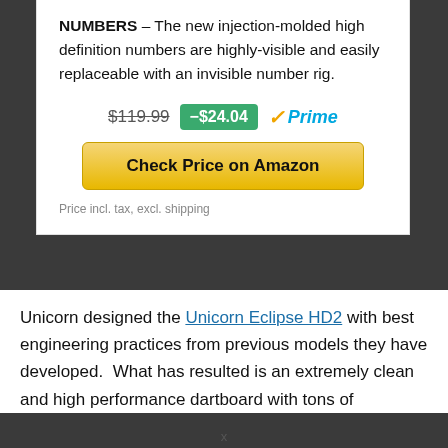NUMBERS – The new injection-molded high definition numbers are highly-visible and easily replaceable with an invisible number rig.
$119.99  -$24.04  Prime
Check Price on Amazon
Price incl. tax, excl. shipping
Unicorn designed the Unicorn Eclipse HD2 with best engineering practices from previous models they have developed.  What has resulted is an extremely clean and high performance dartboard with tons of